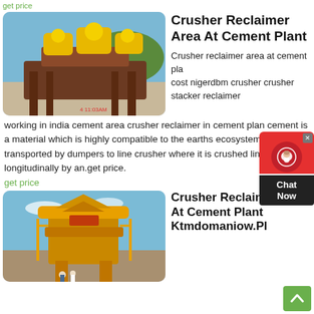get price
[Figure (photo): Industrial crusher machine with yellow parts at a cement plant, outdoor photo with timestamp 4 11:03AM]
Crusher Reclaimer Area At Cement Plant
Crusher reclaimer area at cement pla... cost nigerdbm crusher crusher stacker reclaimer working in india cement area crusher reclaimer in cement plan cement is a material which is highly compatible to the earths ecosystem and is transported by dumpers to line crusher where it is crushed line is piled longitudinally by an.get price.
get price
[Figure (photo): Large yellow cone crusher machine at a cement plant, outdoor photo with workers visible at the bottom]
Crusher Reclaimer Area At Cement Plant Ktmdomaniow.Pl